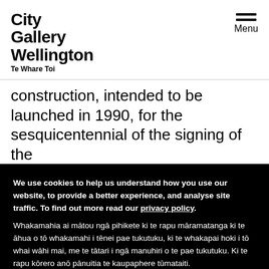City Gallery Wellington Te Whare Toi — Menu
construction, intended to be launched in 1990, for the sesquicentennial of the signing of the
We use cookies to help us understand how you use our website, to provide a better experience, and analyse site traffic. To find out more read our privacy policy. Whakamahia ai mātou ngā pihikete ki te rapu māramatanga ki te āhua o tō whakamahi i tēnei pae tukutuku, ki te whakapai hoki i tō whai wāhi mai, me te tātari i ngā manuhiri o te pae tukutuku. Ki te rapu kōrero anō pānuitia te kaupaphere tūmataiti.
Accept and close